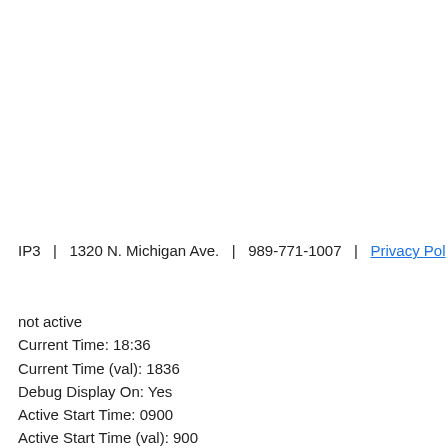IP3   |   1320 N. Michigan Ave.   |   989-771-1007   |   Privacy Pol
not active
Current Time: 18:36
Current Time (val): 1836
Debug Display On: Yes
Active Start Time: 0900
Active Start Time (val): 900
Active End Time: 1700
Active End Time (val): 1700